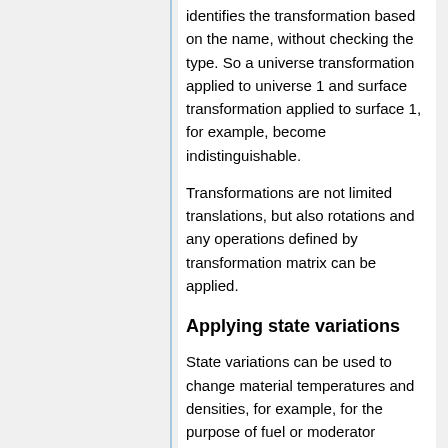identifies the transformation based on the name, without checking the type. So a universe transformation applied to universe 1 and surface transformation applied to surface 1, for example, become indistinguishable.
Transformations are not limited translations, but also rotations and any operations defined by transformation matrix can be applied.
Applying state variations
State variations can be used to change material temperatures and densities, for example, for the purpose of fuel or moderator temperature branches. When the material is not associated with thermal scattering data, the input for the branch card consists of the new density and temperature. This is typical for fuel